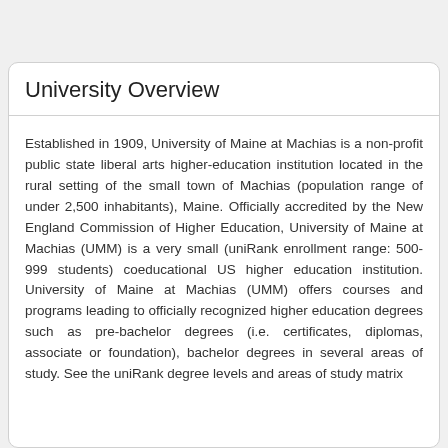University Overview
Established in 1909, University of Maine at Machias is a non-profit public state liberal arts higher-education institution located in the rural setting of the small town of Machias (population range of under 2,500 inhabitants), Maine. Officially accredited by the New England Commission of Higher Education, University of Maine at Machias (UMM) is a very small (uniRank enrollment range: 500-999 students) coeducational US higher education institution. University of Maine at Machias (UMM) offers courses and programs leading to officially recognized higher education degrees such as pre-bachelor degrees (i.e. certificates, diplomas, associate or foundation), bachelor degrees in several areas of study. See the uniRank degree levels and areas of study matrix